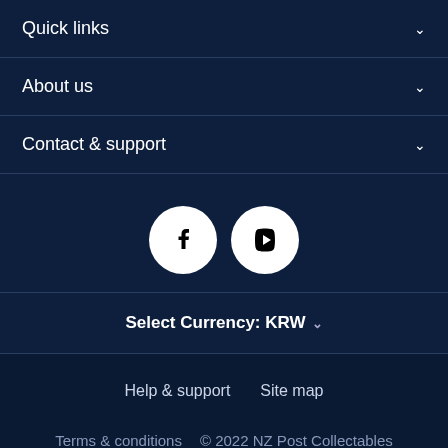Quick links
About us
Contact & support
[Figure (illustration): Social media icons: Facebook and YouTube circular white buttons on dark navy background]
Select Currency: KRW
Help & support   Site map
Terms & conditions   © 2022 NZ Post Collectables